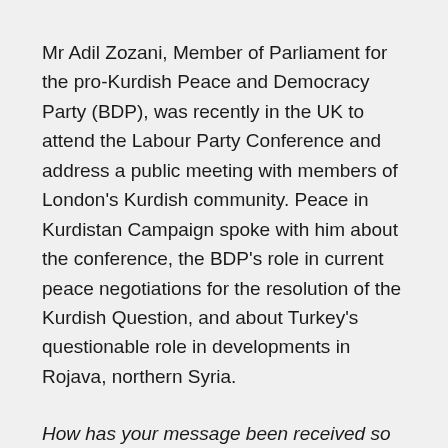Mr Adil Zozani, Member of Parliament for the pro-Kurdish Peace and Democracy Party (BDP), was recently in the UK to attend the Labour Party Conference and address a public meeting with members of London's Kurdish community. Peace in Kurdistan Campaign spoke with him about the conference, the BDP's role in current peace negotiations for the resolution of the Kurdish Question, and about Turkey's questionable role in developments in Rojava, northern Syria.
How has your message been received so far in the UK, and in particular, at the Labour Party Conference, where you spoke at a meeting that